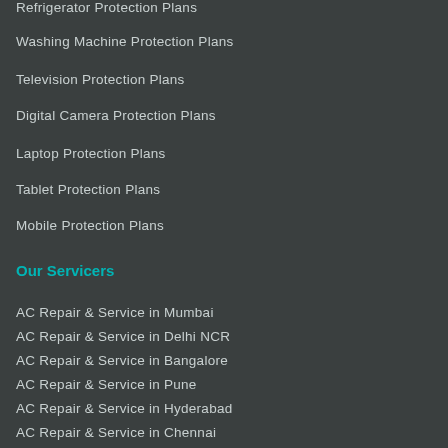Refrigerator Protection Plans
Washing Machine Protection Plans
Television Protection Plans
Digital Camera Protection Plans
Laptop Protection Plans
Tablet Protection Plans
Mobile Protection Plans
Our Servicers
AC Repair & Service in Mumbai
AC Repair & Service in Delhi NCR
AC Repair & Service in Bangalore
AC Repair & Service in Pune
AC Repair & Service in Hyderabad
AC Repair & Service in Chennai
Laptop Repair Service in Mumbai
Laptop Repair Service in Bangalore